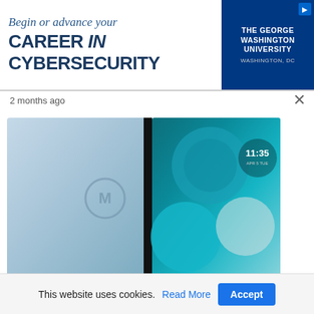[Figure (screenshot): Advertisement banner: 'Begin or advance your CAREER in CYBERSECURITY' with The George Washington University logo on the right side against a dark blue background.]
2 months ago
[Figure (photo): Two Motorola smartphones shown side by side - one showing the back with Motorola logo in blue-grey color, and one showing the front screen displaying 11:35 time with a teal/blue abstract wallpaper.]
NEWS
This website uses cookies. Read More Accept